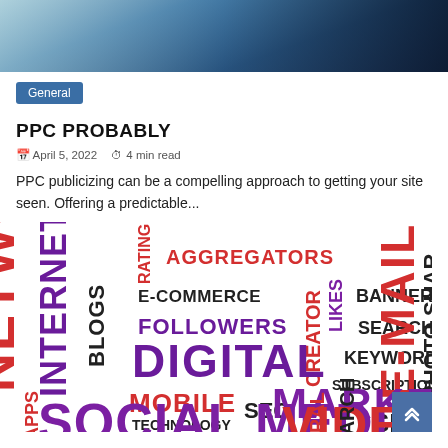[Figure (photo): Partial view of a person holding a device, cropped header image with blue tones]
General
PPC PROBABLY
April 5, 2022   4 min read
PPC publicizing can be a compelling approach to getting your site seen. Offering a predictable...
[Figure (infographic): Word cloud featuring digital marketing terms: NETWORK, INTERNET, BLOGS, AGGREGATORS, E-COMMERCE, FOLLOWERS, CREATOR, LIKES, BANNER, SEARCH, KEYWORDS, SUBSCRIPTIONS, DIGITAL, MOBILE, TECHNOLOGY, SEO, MARKETING, SEM, SOCIAL MEDIA, VIDEOS, VIRAL, SEARCH, REVIEWS, LIVESTREAMING, APPS, MOBILE, E-MAIL, PHOTO SHARING, RATING in various colors (red, purple, dark) and sizes]